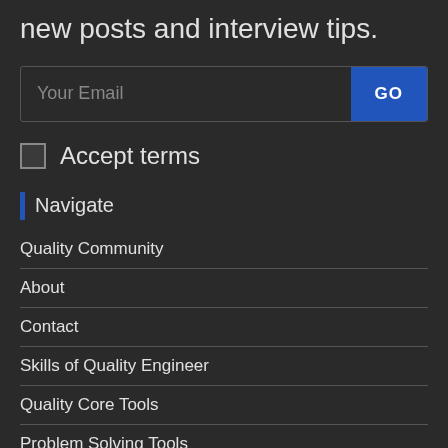new posts and interview tips.
Your Email [input] GO
Accept terms
Navigate
Quality Community
About
Contact
Skills of Quality Engineer
Quality Core Tools
Problem Solving Tools
Privacy Policy
Disclaimer